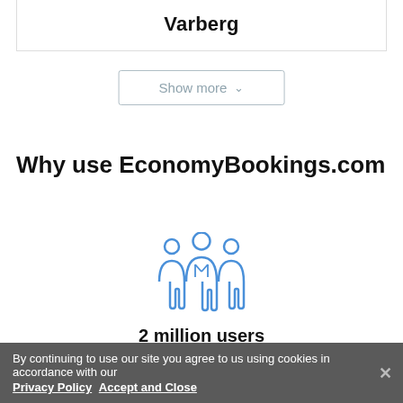Varberg
Show more
Why use EconomyBookings.com
[Figure (illustration): Icon of three people (group/users icon) in blue outline style]
2 million users
The details you provide for making a booking are strictly confidential being secured by SSL encryption
By continuing to use our site you agree to us using cookies in accordance with our Privacy Policy  Accept and Close